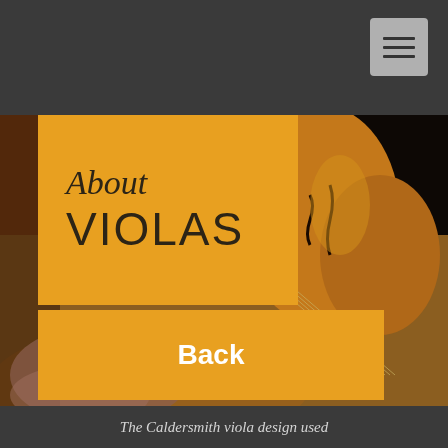[Figure (screenshot): Mobile website screenshot showing 'About VIOLAS' page with navigation. Dark grey header bar at top with hamburger menu button (three horizontal lines) on the right. Below is a photo of violas/string instruments in warm brown tones. An orange/amber rectangular box overlays the left portion of the photo containing the title text 'About VIOLAS' in dark color. Below the photo area are two large orange navigation buttons labeled 'Back' and 'Next' in white bold text. At the bottom is a dark grey footer bar with italic text 'The Caldersmith viola design used'.]
About VIOLAS
Back
Next
The Caldersmith viola design used